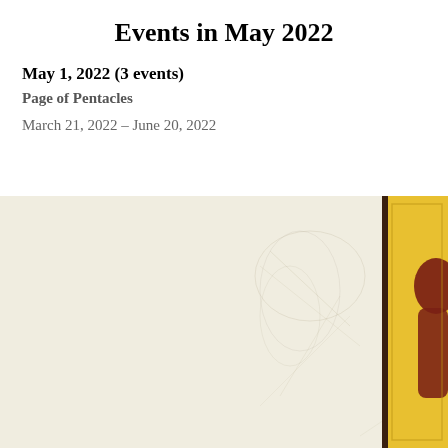Events in May 2022
May 1, 2022 (3 events)
Page of Pentacles
March 21, 2022 – June 20, 2022
[Figure (illustration): Partial view of a tarot card illustration showing a cream/off-white background on the left with faint sketch marks, and on the right side a yellow/golden panel with a dark border containing part of a dark red figure.]